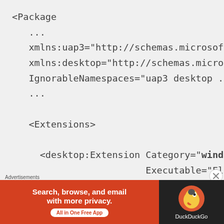<Package
   ...
   xmlns:uap3="http://schemas.microsoft.c
   xmlns:desktop="http://schemas.microsof
   IgnorableNamespaces="uap3 desktop ..."
   ...

   <Extensions>

     <desktop:Extension Category="windows.f
                        Executable="Elevate
       <desktop:FullTrustProcess>
         <desktop:ParameterGroup GroupId="L
Advertisements